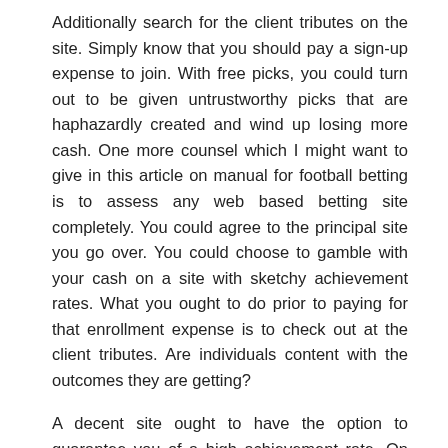Additionally search for the client tributes on the site. Simply know that you should pay a sign-up expense to join. With free picks, you could turn out to be given untrustworthy picks that are haphazardly created and wind up losing more cash. One more counsel which I might want to give in this article on manual for football betting is to assess any web based betting site completely. You could agree to the principal site you go over. You could choose to gamble with your cash on a site with sketchy achievement rates. What you ought to do prior to paying for that enrollment expense is to check out at the client tributes. Are individuals content with the outcomes they are getting?
A decent site ought to have the option to guarantee you of a high achievement rate. On the off chance that you do not see fulfilled clients on the site, then, at that point, continue to look somewhere else. Something that can frequently get disregarded while picking a web-based manual for ufa bet football betting is whether the site will discount your charge, would it be advisable for you feel disappointed. Solid sites will do this for clients who have not been getting however many triumphs as what the site guarantees. This is the same as stores that deal discounts on things that do not